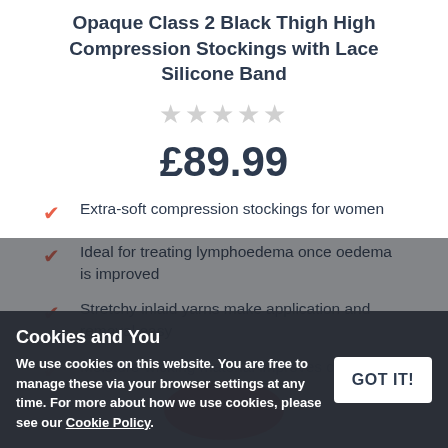Opaque Class 2 Black Thigh High Compression Stockings with Lace Silicone Band
[Figure (other): Five empty/unfilled star rating icons in light grey]
£89.99
Extra-soft compression stockings for women
Ideal for treating lymphoedema once oedema is improved
Stretchy inlaid yarns make application and removal easy
Moisture-wicking material improves comfort
Cookies and You
We use cookies on this website. You are free to manage these via your browser settings at any time. For more about how we use cookies, please see our Cookie Policy.